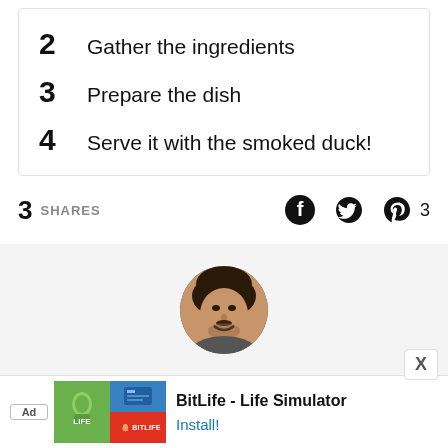2 Gather the ingredients
3 Prepare the dish
4 Serve it with the smoked duck!
3 SHARES
[Figure (photo): Circular author profile photo of a smiling man with dark hair]
[Figure (photo): Advertisement banner for BitLife - Life Simulator app with Install button]